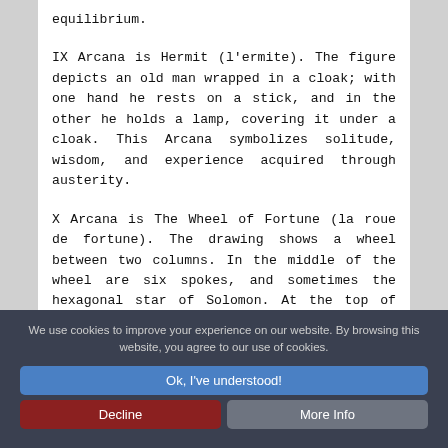equilibrium.
IX Arcana is Hermit (l'ermite). The figure depicts an old man wrapped in a cloak; with one hand he rests on a stick, and in the other he holds a lamp, covering it under a cloak. This Arcana symbolizes solitude, wisdom, and experience acquired through austerity.
X Arcana is The Wheel of Fortune (la roue de fortune). The drawing shows a wheel between two columns. In the middle of the wheel are six spokes, and sometimes the hexagonal star of Solomon. At the top of the wheel
We use cookies to improve your experience on our website. By browsing this website, you agree to our use of cookies.
Ok, I've understood!
Decline
More Info